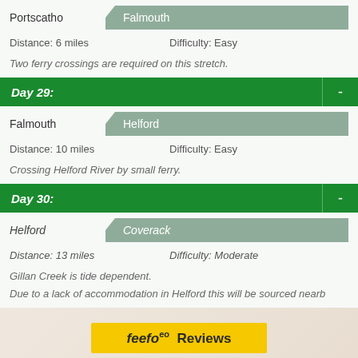Portscatho → Falmouth
Distance: 6 miles  Difficulty: Easy
Two ferry crossings are required on this stretch.
Day 29:   -
Falmouth → Helford
Distance: 10 miles  Difficulty: Easy
Crossing Helford River by small ferry.
Day 30:   -
Helford → Coverack
Distance: 13 miles  Difficulty: Moderate
Gillan Creek is tide dependent.
Due to a lack of accommodation in Helford this will be sourced nearby.
[Figure (logo): Feefo Reviews logo banner in yellow]